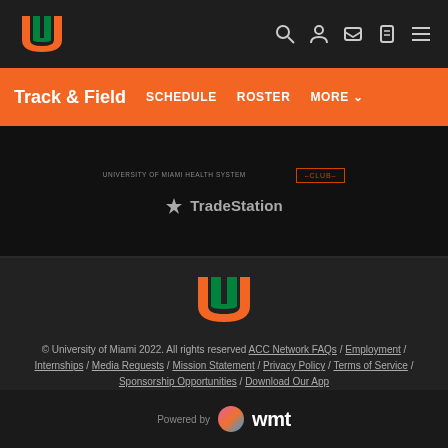[Figure (logo): University of Miami U logo in orange and green on dark nav bar]
[Figure (logo): Navigation icons: search, person, ticket, shirt, menu hamburger]
Track & Field  SCHEDULE  ROSTER  MORE
[Figure (logo): University of Miami Health System logo and CLUB badge]
[Figure (logo): TradeStation logo]
[Figure (logo): University of Miami U logo large in footer]
© University of Miami 2022. All rights reserved ACC Network FAQs / Employment / Internships / Media Requests / Mission Statement / Privacy Policy / Terms of Service / Sponsorship Opportunities / Download Our App
[Figure (logo): Powered by WMT logo]